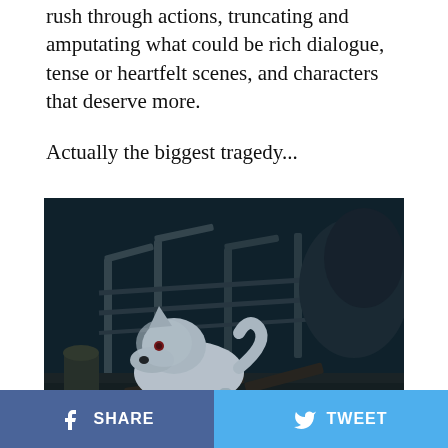rush through actions, truncating and amputating what could be rich dialogue, tense or heartfelt scenes, and characters that deserve more.
Actually the biggest tragedy...
[Figure (photo): A white direwolf (Ghost) standing in a dark, destroyed environment with broken wooden structures and debris in the background, scene from Game of Thrones]
SHARE   TWEET   ...